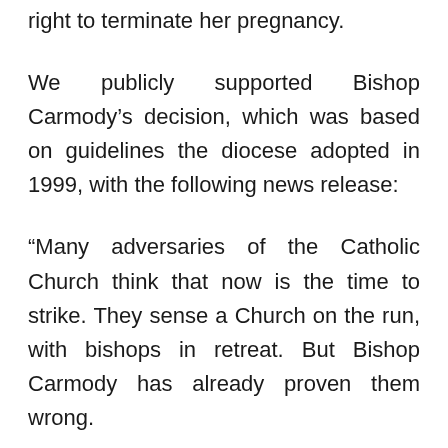right to terminate her pregnancy.
We publicly supported Bishop Carmody's decision, which was based on guidelines the diocese adopted in 1999, with the following news release:
“Many adversaries of the Catholic Church think that now is the time to strike. They sense a Church on the run, with bishops in retreat. But Bishop Carmody has already proven them wrong.